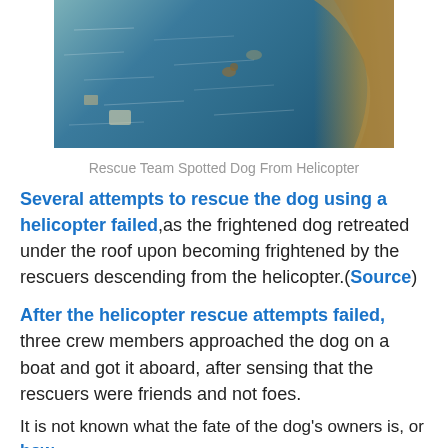[Figure (photo): Aerial view of a dog on a flooded boat or debris, photographed from helicopter. Blue-green water visible with boat edge on right side.]
Rescue Team Spotted Dog From Helicopter
Several attempts to rescue the dog using a helicopter failed, as the frightened dog retreated under the roof upon becoming frightened by the rescuers descending from the helicopter.(Source)
After the helicopter rescue attempts failed, three crew members approached the dog on a boat and got it aboard, after sensing that the rescuers were friends and not foes.
It is not known what the fate of the dog's owners is, or how...